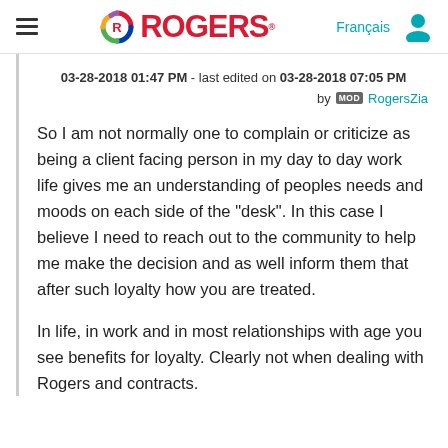Rogers — Français [navigation header with hamburger menu, Rogers logo, Français link, and user icon]
03-28-2018 01:47 PM - last edited on 03-28-2018 07:05 PM by MOD RogersZia
So I am not normally one to complain or criticize as being a client facing person in my day to day work life gives me an understanding of peoples needs and moods on each side of the "desk". In this case I believe I need to reach out to the community to help me make the decision and as well inform them that after such loyalty how you are treated.
In life, in work and in most relationships with age you see benefits for loyalty. Clearly not when dealing with Rogers and contracts.